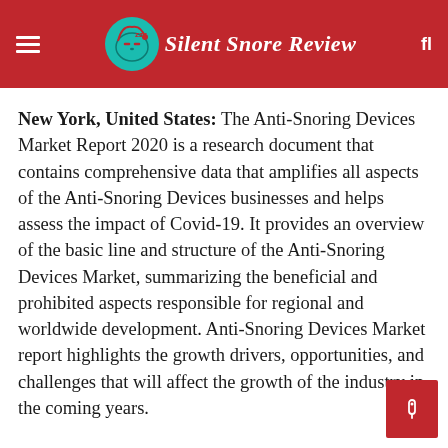Silent Snore Review
New York, United States: The Anti-Snoring Devices Market Report 2020 is a research document that contains comprehensive data that amplifies all aspects of the Anti-Snoring Devices businesses and helps assess the impact of Covid-19. It provides an overview of the basic line and structure of the Anti-Snoring Devices Market, summarizing the beneficial and prohibited aspects responsible for regional and worldwide development. Anti-Snoring Devices Market report highlights the growth drivers, opportunities, and challenges that will affect the growth of the industry in the coming years.